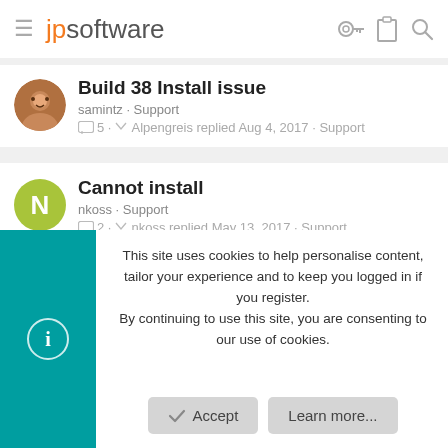jpsoftware
Build 38 Install issue
samintz · Support
5 · Alpengreis replied Aug 4, 2017 · Support
Cannot install
nkoss · Support
2 · nkoss replied May 13, 2017 · Support
Version 21.23 fails to install
fishman@panix.com · Support
4 · fishman@panix.com replied May 6, 2017 · Support
This site uses cookies to help personalise content, tailor your experience and to keep you logged in if you register.
By continuing to use this site, you are consenting to our use of cookies.